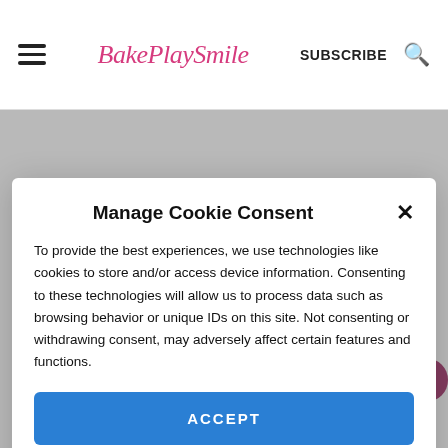BakePlaySmile — SUBSCRIBE [search icon]
Manage Cookie Consent
To provide the best experiences, we use technologies like cookies to store and/or access device information. Consenting to these technologies will allow us to process data such as browsing behavior or unique IDs on this site. Not consenting or withdrawing consent, may adversely affect certain features and functions.
ACCEPT
Privacy Policy
ingredients (a bit like a little production line).